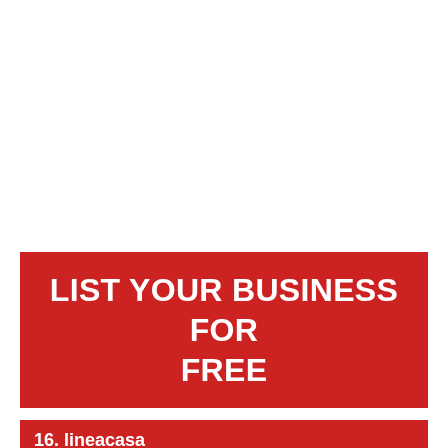LIST YOUR BUSINESS FOR FREE
16. lineacasa
"481 Lygon Street East Brunswick Victoria 3057"
lineacasa